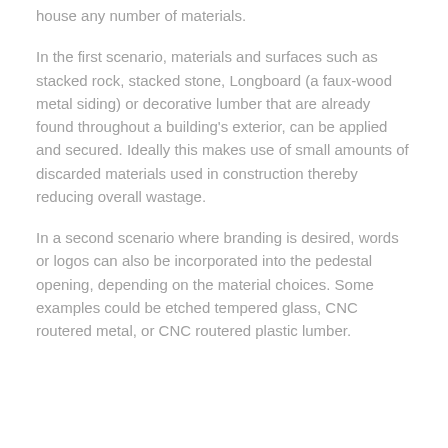house any number of materials.
In the first scenario, materials and surfaces such as stacked rock, stacked stone, Longboard (a faux-wood metal siding) or decorative lumber that are already found throughout a building’s exterior, can be applied and secured. Ideally this makes use of small amounts of discarded materials used in construction thereby reducing overall wastage.
In a second scenario where branding is desired, words or logos can also be incorporated into the pedestal opening, depending on the material choices. Some examples could be etched tempered glass, CNC routered metal, or CNC routered plastic lumber.